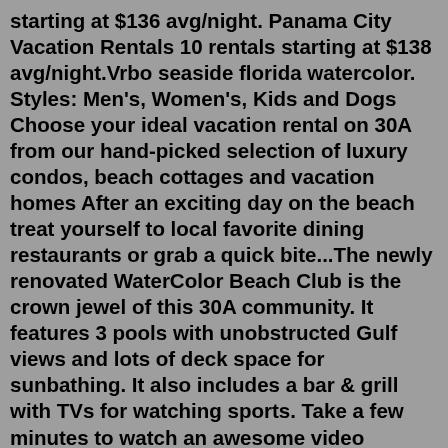starting at $136 avg/night. Panama City Vacation Rentals 10 rentals starting at $138 avg/night.Vrbo seaside florida watercolor. Styles: Men's, Women's, Kids and Dogs Choose your ideal vacation rental on 30A from our hand-picked selection of luxury condos, beach cottages and vacation homes After an exciting day on the beach treat yourself to local favorite dining restaurants or grab a quick bite...The newly renovated WaterColor Beach Club is the crown jewel of this 30A community. It features 3 pools with unobstructed Gulf views and lots of deck space for sunbathing. It also includes a bar & grill with TVs for watching sports. Take a few minutes to watch an awesome video 30A.com put together on the new WaterColor Beach Club... The Best Seaside Cottage Rentals. If a quaint little place on the beach sounds like an ideal vacation plan, book now and start counting down the days. Find WaterColor Inn & Resort Santa Rosa Beach, Florida information, photos, prices, expert advice, traveler reviews, and